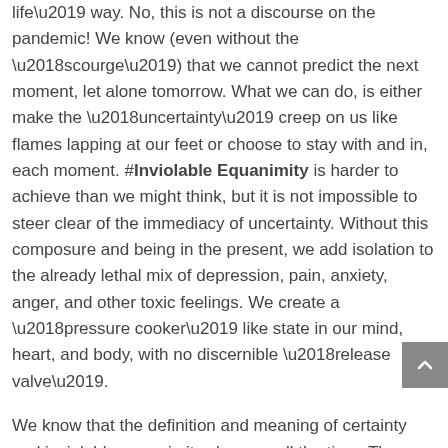life’ way. No, this is not a discourse on the pandemic! We know (even without the ‘scourge’) that we cannot predict the next moment, let alone tomorrow. What we can do, is either make the ‘uncertainty’ creep on us like flames lapping at our feet or choose to stay with and in, each moment. #Inviolable Equanimity is harder to achieve than we might think, but it is not impossible to steer clear of the immediacy of uncertainty. Without this composure and being in the present, we add isolation to the already lethal mix of depression, pain, anxiety, anger, and other toxic feelings. We create a ‘pressure cooker’ like state in our mind, heart, and body, with no discernible ‘release valve’.
We know that the definition and meaning of certainty and inviolable equanimity changes all the time. The reality of these terms is volatile and multi-layered, and even paradoxical. The phenomena of our everyday life seem fiddly to define. So, is there a way to center our